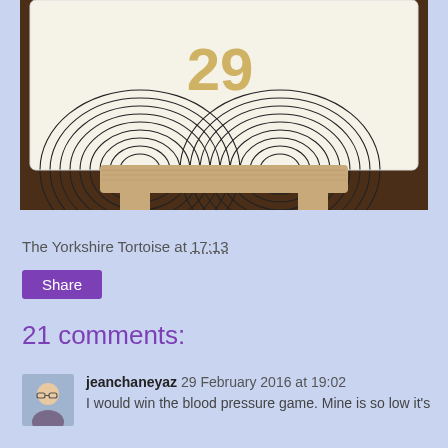[Figure (photo): A small artwork card displayed on a wooden mini easel. The card features intricate concentric curved line patterns in black ink on white background, with a golden/yellow numeral visible. The easel is light wood colored, sitting on a dark wooden surface.]
The Yorkshire Tortoise at 17:13
Share
21 comments:
jeanchaneyaz 29 February 2016 at 19:02
I would win the blood pressure game. Mine is so low it's